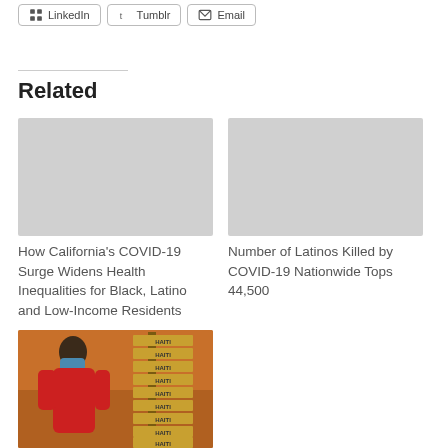[Figure (other): Social share buttons: LinkedIn, Tumblr, Email]
Related
[Figure (photo): Placeholder image for article about California COVID-19 surge]
How California's COVID-19 Surge Widens Health Inequalities for Black, Latino and Low-Income Residents
[Figure (photo): Placeholder image for article about Latinos killed by COVID-19]
Number of Latinos Killed by COVID-19 Nationwide Tops 44,500
[Figure (photo): Photo of person in red jacket wearing mask standing near Haiti signs]